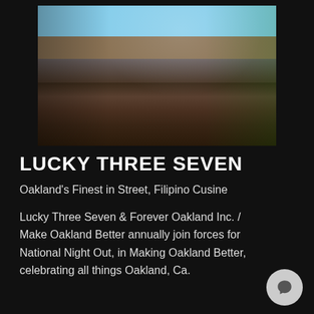[Figure (photo): Outdoor restaurant patio with wooden pergola structure, green awning, diners seated at tables, trees visible, daytime blue sky]
LUCKY THREE SEVEN
Oakland's Finest in Street, Filipino Cusine
Lucky Three Seven & Forever Oakland Inc. / Make Oakland Better annually join forces for National Night Out, in Making Oakland Better, celebrating all things Oakland, Ca.